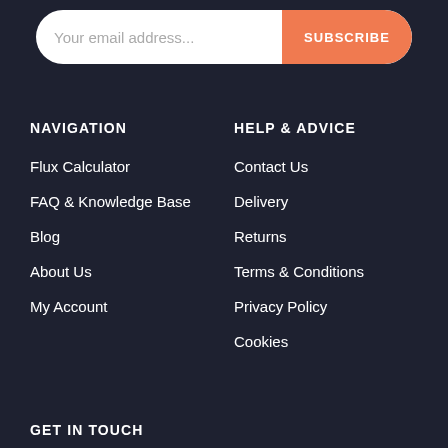[Figure (other): Email subscription bar with input field placeholder 'Your email address...' and orange SUBSCRIBE button]
NAVIGATION
Flux Calculator
FAQ & Knowledge Base
Blog
About Us
My Account
HELP & ADVICE
Contact Us
Delivery
Returns
Terms & Conditions
Privacy Policy
Cookies
GET IN TOUCH